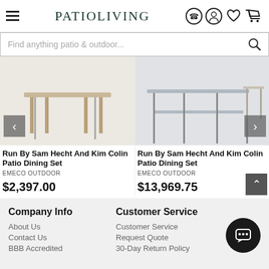PATIOLIVING
Find anything patio & outdoor...
[Figure (photo): Run By Sam Hecht And Kim Colin Patio Dining Set product image - chairs and table legs on white background]
Run By Sam Hecht And Kim Colin Patio Dining Set
EMECO OUTDOOR
$2,397.00
[Figure (photo): Run By Sam Hecht And Kim Colin Patio Dining Set product image - table and chairs on grey background]
Run By Sam Hecht And Kim Colin Patio Dining Set
EMECO OUTDOOR
$13,969.75
Company Info
About Us
Contact Us
BBB Accredited
Customer Service
Customer Service
Request Quote
30-Day Return Policy